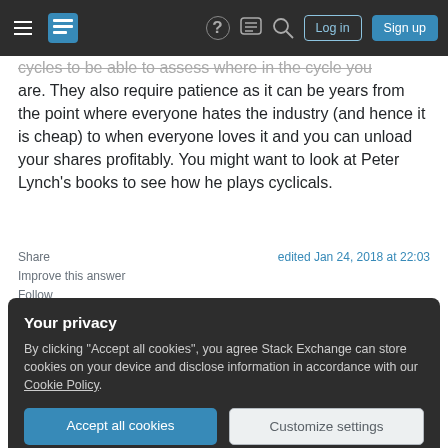Stack Exchange navigation bar with hamburger menu, logo, help, chat, search icons, Log in and Sign up buttons
cycles to be able to assess where in the cycle you are. They also require patience as it can be years from the point where everyone hates the industry (and hence it is cheap) to when everyone loves it and you can unload your shares profitably. You might want to look at Peter Lynch's books to see how he plays cyclicals.
Share
edited Jan 24, 2018 at 22:03
Improve this answer
Follow
Your privacy
By clicking "Accept all cookies", you agree Stack Exchange can store cookies on your device and disclose information in accordance with our Cookie Policy.
Accept all cookies
Customize settings
and picking specific industries, companies, and